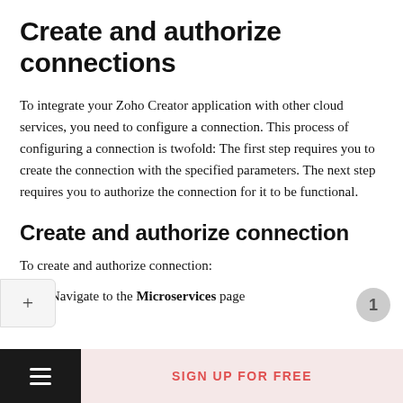Create and authorize connections
To integrate your Zoho Creator application with other cloud services, you need to configure a connection. This process of configuring a connection is twofold: The first step requires you to create the connection with the specified parameters. The next step requires you to authorize the connection for it to be functional.
Create and authorize connection
To create and authorize connection:
1. Navigate to the Microservices page